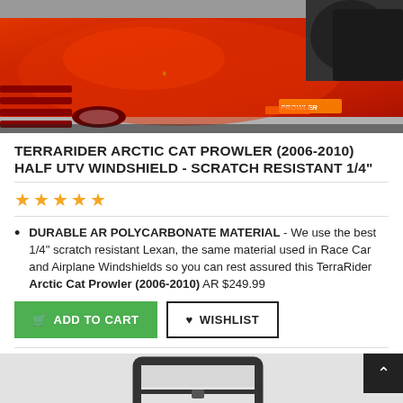[Figure (photo): Red Arctic Cat Prowler UTV vehicle front/hood view with black seat visible, orange and red bodywork, Prowler branding on side]
TERRARIDER ARCTIC CAT PROWLER (2006-2010) HALF UTV WINDSHIELD - SCRATCH RESISTANT 1/4"
★★★★★
DURABLE AR POLYCARBONATE MATERIAL - We use the best 1/4" scratch resistant Lexan, the same material used in Race Car and Airplane Windshields so you can rest assured this TerraRider Arctic Cat Prowler (2006-2010) AR $249.99
[Figure (photo): Black and white photo of UTV windshield frame/half windshield product on light gray background]